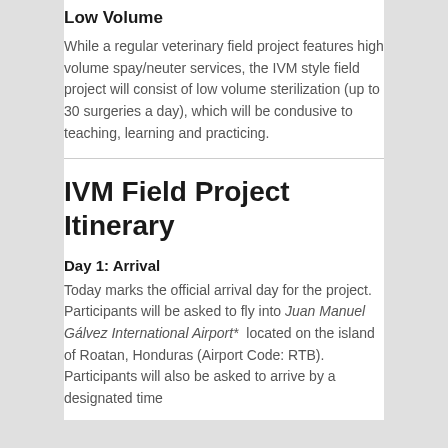Low Volume
While a regular veterinary field project features high volume spay/neuter services, the IVM style field project will consist of low volume sterilization (up to 30 surgeries a day), which will be condusive to teaching, learning and practicing.
IVM Field Project Itinerary
Day 1: Arrival
Today marks the official arrival day for the project. Participants will be asked to fly into Juan Manuel Gálvez International Airport*  located on the island of Roatan, Honduras (Airport Code: RTB). Participants will also be asked to arrive by a designated time